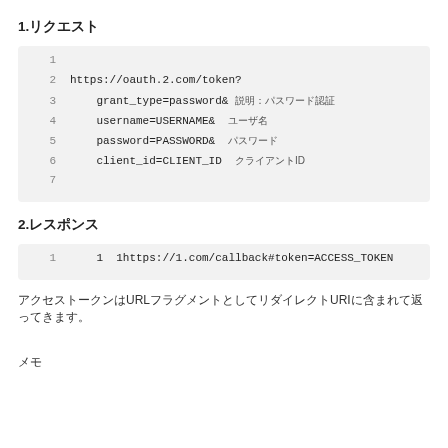1.リクエスト
[Figure (screenshot): Code block showing HTTP request for OAuth2 token with lines 1-7. Line 2: https://oauth.2.com/token? Line 3: grant_type=password& 説明：パスワード認証 Line 4: username=USERNAME& ユーザ名 Line 5: password=PASSWORD& パスワード Line 6: client_id=CLIENT_ID クライアントID Line 7: (empty)]
2.レスポンス
[Figure (screenshot): Code block showing HTTP response. Line 1: 1https://1.com/callback#token=ACCESS_TOKEN]
アクセストークンはURLフラグメントとしてリダイレクトURIに含まれて返ってきます。
メモ